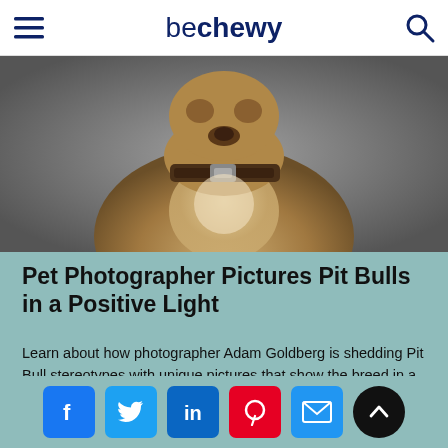be chewy
[Figure (photo): Close-up photo of a Pit Bull dog looking upward, wearing a leather collar, shot against a gray background]
Pet Photographer Pictures Pit Bulls in a Positive Light
Learn about how photographer Adam Goldberg is shedding Pit Bull stereotypes with unique pictures that show the breed in a new light.